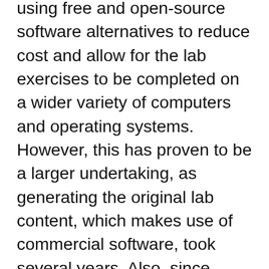using free and open-source software alternatives to reduce cost and allow for the lab exercises to be completed on a wider variety of computers and operating systems. However, this has proven to be a larger undertaking, as generating the original lab content, which makes use of commercial software, took several years. Also, since software updates regularly, maintaining multiple sets of exercises using different software environments increases the burden of maintaining the course content long term.
Several components of this course, which rely on UDL principles, stand out as effective. First, the availability of open-source, web-hosted, responsive instructional materials allowed students to interact with the content at their